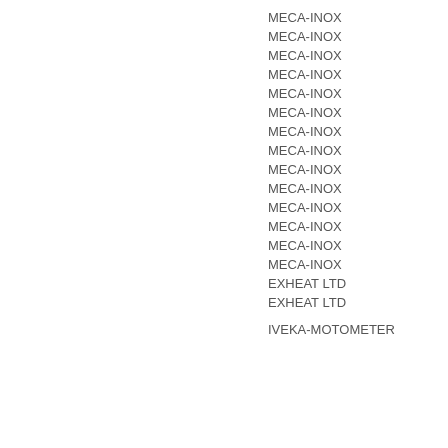MECA-INOX
MECA-INOX
MECA-INOX
MECA-INOX
MECA-INOX
MECA-INOX
MECA-INOX
MECA-INOX
MECA-INOX
MECA-INOX
MECA-INOX
MECA-INOX
MECA-INOX
MECA-INOX
EXHEAT LTD
EXHEAT LTD
IVEKA-MOTOMETER